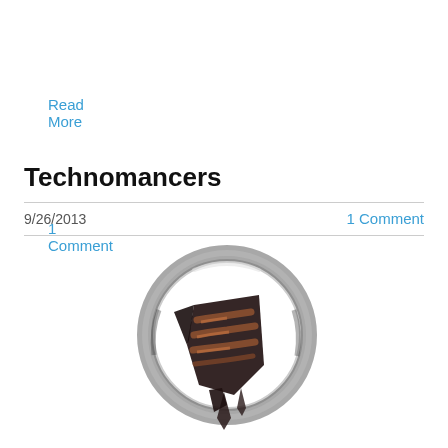Read More
1 Comment
Technomancers
9/26/2013
1 Comment
[Figure (illustration): Technomancers faction logo: a dark metallic circular ring with a copper and dark brown angular claw-like symbol in the center, with dripping lower elements, on white background]